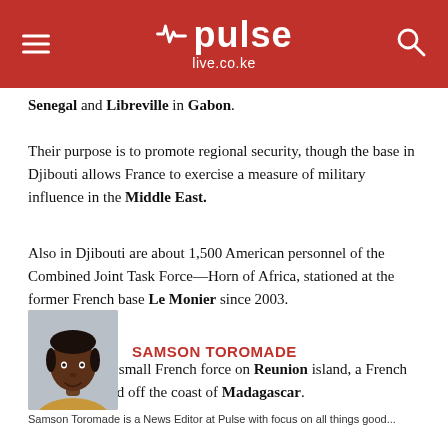pulse live.co.ke
Senegal and Libreville in Gabon.
Their purpose is to promote regional security, though the base in Djibouti allows France to exercise a measure of military influence in the Middle East.
Also in Djibouti are about 1,500 American personnel of the Combined Joint Task Force—Horn of Africa, stationed at the former French base Le Monier since 2003.
There is also a small French force on Reunion island, a French territory located off the coast of Madagascar.
[Figure (photo): Headshot photo of Samson Toromade, a News Editor at Pulse]
SAMSON TOROMADE
Samson Toromade is a News Editor at Pulse with focus on all things good...